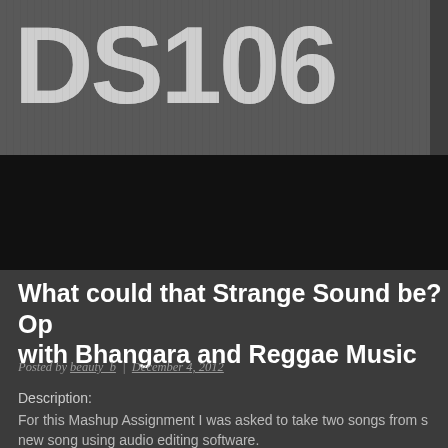[Figure (logo): DS106 logo in large distressed/grunge white text on dark gray background]
[Figure (other): Dark banner/advertisement area below logo]
What could that Strange Sound be? Op with Bhangara and Reggae Music
Posted by beauty_b | December 4, 2012
Description:
For this Mashup Assignment I was asked to take two songs from s new song using audio editing software.